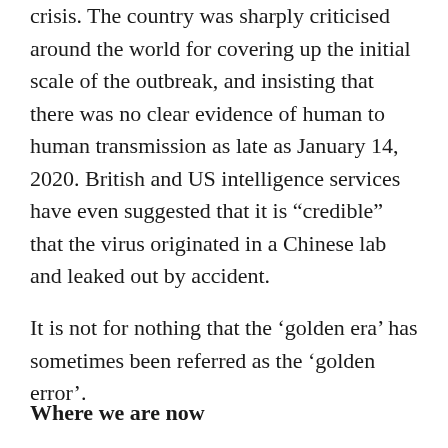crisis. The country was sharply criticised around the world for covering up the initial scale of the outbreak, and insisting that there was no clear evidence of human to human transmission as late as January 14, 2020. British and US intelligence services have even suggested that it is “credible” that the virus originated in a Chinese lab and leaked out by accident.
It is not for nothing that the ‘golden era’ has sometimes been referred as the ‘golden error’.
Where we are now